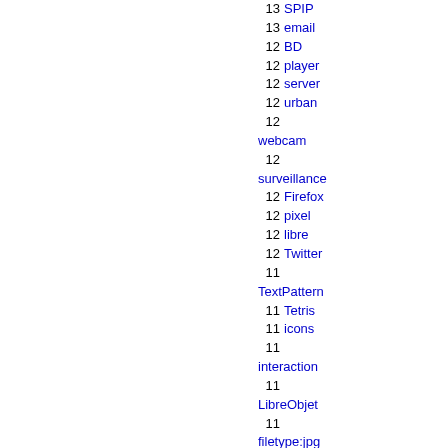13 SPIP
13 email
12 BD
12 player
12 server
12 urban
12 webcam
12 surveillance
12 Firefox
12 pixel
12 libre
12 Twitter
11 TextPattern
11 Tetris
11 icons
11 interaction
11 LibreObjet
11 filetype:jpg
10 t-shirts
10 resources
10 scripts
10 copyright